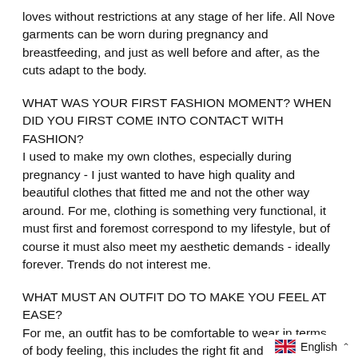loves without restrictions at any stage of her life. All Nove garments can be worn during pregnancy and breastfeeding, and just as well before and after, as the cuts adapt to the body.
WHAT WAS YOUR FIRST FASHION MOMENT? WHEN DID YOU FIRST COME INTO CONTACT WITH FASHION?
I used to make my own clothes, especially during pregnancy - I just wanted to have high quality and beautiful clothes that fitted me and not the other way around. For me, clothing is something very functional, it must first and foremost correspond to my lifestyle, but of course it must also meet my aesthetic demands - ideally forever. Trends do not interest me.
WHAT MUST AN OUTFIT DO TO MAKE YOU FEEL AT EASE?
For me, an outfit has to be comfortable to wear in terms of body feeling, this includes the right fit and a high-quality fabrics that feel good on the skin. And it...
English